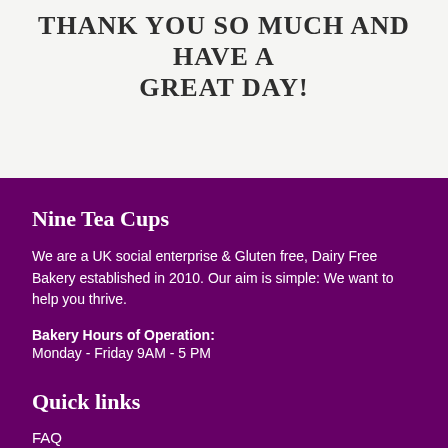THANK YOU SO MUCH AND HAVE A GREAT DAY!
Nine Tea Cups
We are a UK social enterprise & Gluten free, Dairy Free Bakery established in 2010. Our aim is simple: We want to help you thrive.
Bakery Hours of Operation:
Monday - Friday 9AM - 5 PM
Quick links
FAQ